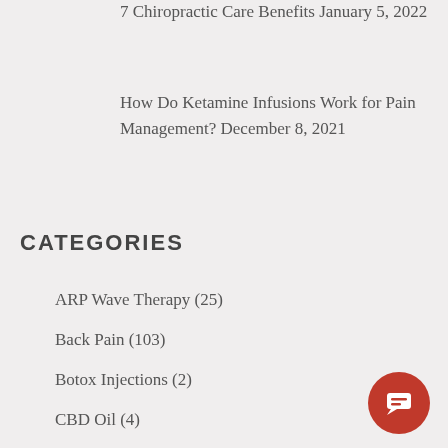7 Chiropractic Care Benefits January 5, 2022
How Do Ketamine Infusions Work for Pain Management? December 8, 2021
CATEGORIES
ARP Wave Therapy (25)
Back Pain (103)
Botox Injections (2)
CBD Oil (4)
Chiropractic (16)